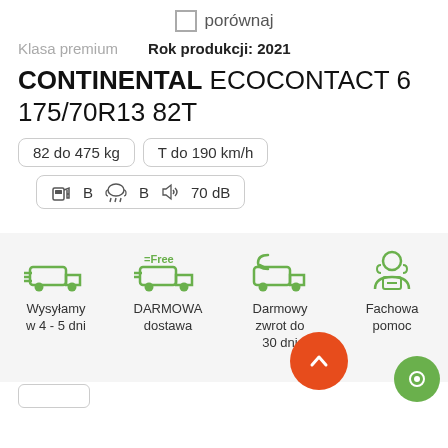porównaj
Klasa premium   Rok produkcji: 2021
CONTINENTAL ECOCONTACT 6 175/70R13 82T
82 do 475 kg
T do 190 km/h
B  B  70 dB
[Figure (infographic): Four green delivery icons with labels: Wysyłamy w 4-5 dni, DARMOWA dostawa, Darmowy zwrot do 30 dni, Fachowa pomoc]
Wysyłamy w 4 - 5 dni
DARMOWA dostawa
Darmowy zwrot do 30 dni
Fachowa pomoc